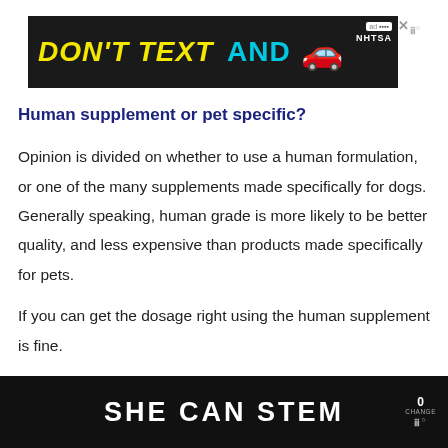[Figure (screenshot): Advertisement banner: 'DON'T TEXT AND [car emoji]' with NHTSA branding on dark background]
Human supplement or pet specific?
Opinion is divided on whether to use a human formulation, or one of the many supplements made specifically for dogs. Generally speaking, human grade is more likely to be better quality, and less expensive than products made specifically for pets.
If you can get the dosage right using the human supplement is fine.
[Figure (screenshot): Bottom advertisement bar: 'SHE CAN STEM' on dark background with logo]